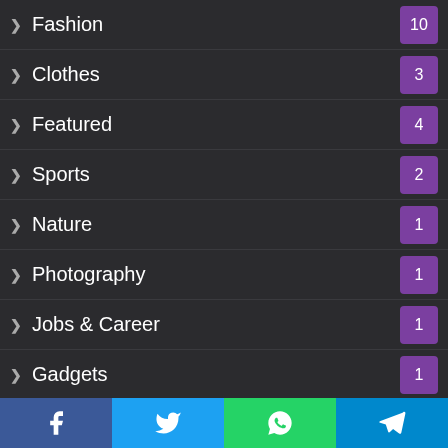Fashion 10
Clothes 3
Featured 4
Sports 2
Nature 1
Photography 1
Jobs & Career 1
Gadgets 1
Cartoon 1
Architecture 28
Home Improvement 20
Design 5
Decorating